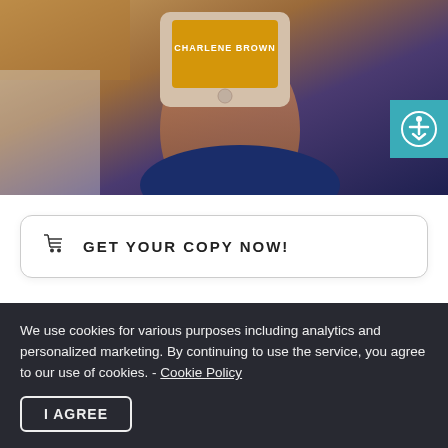[Figure (photo): A hand holding a smartphone displaying 'CHARLENE BROWN' on a yellow/gold screen background, with a wooden surface and blue fabric visible]
GET YOUR COPY NOW!
We use cookies for various purposes including analytics and personalized marketing. By continuing to use the service, you agree to our use of cookies. - Cookie Policy
I AGREE